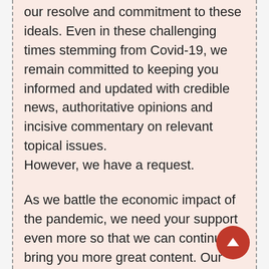our resolve and commitment to these ideals. Even in these challenging times stemming from Covid-19, we remain committed to keeping you informed and updated with credible news, authoritative opinions and incisive commentary on relevant topical issues. However, we have a request.
As we battle the economic impact of the pandemic, we need your support even more so that we can continue to bring you more great content. Our subscription model has received an encouraging response from many of you who have subscribed to our online content. More subscription to our online content can only help us achieve the goals of bringing you even better and more relevant content. We believe in free, fair and credible journalism. You...